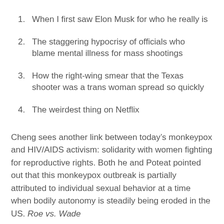1. When I first saw Elon Musk for who he really is
2. The staggering hypocrisy of officials who blame mental illness for mass shootings
3. How the right-wing smear that the Texas shooter was a trans woman spread so quickly
4. The weirdest thing on Netflix
Cheng sees another link between today’s monkeypox and HIV/AIDS activism: solidarity with women fighting for reproductive rights. Both he and Poteat pointed out that this monkeypox outbreak is partially attributed to individual sexual behavior at a time when bodily autonomy is steadily being eroded in the US. Roe vs. Wade